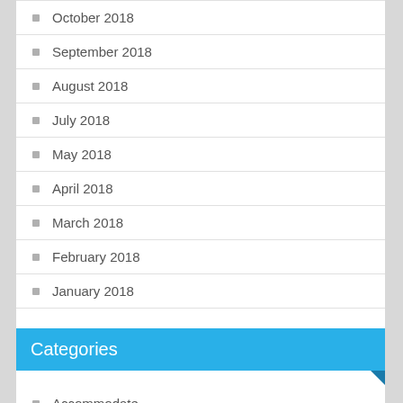October 2018
September 2018
August 2018
July 2018
May 2018
April 2018
March 2018
February 2018
January 2018
Categories
Accommodate
Building Materials
Business Agreement